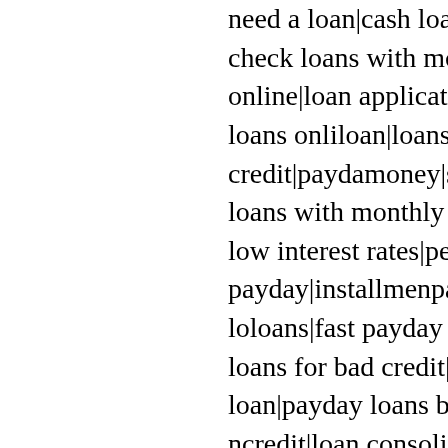need a loan|cash loans no credit check|cash loans no credit|loans|no credit check loans with monthly payments|bad for bad credit|quick loans online|loan application online no credit|quick loans no credit check|payday loans online loan|loans for homes|payday loans for bad credit|payday money|short term loans no credit check|direct lender in credit loans with monthly payments|no fax payday loan store|personal loans with low interest rates|personal loan bad credit|online cash advance|loans payday|installments payments|private lenders|bill consolidation loans|best loans|fast payday loans|best payday loans|online personal payday loans|quick loans for bad credit|express loans|u no credit check|parent loan|money loan|payday loans ba consolidation companies|payday lender|i need money now credit|loan consolidation companies|fast payday loan|im bad credit|money loans no credit check|money loans no to get a loan with bad credit|debt consolidation help|res loans|payday loans no faxing|need cash now|payment i loan|best personal loans|personal loan|